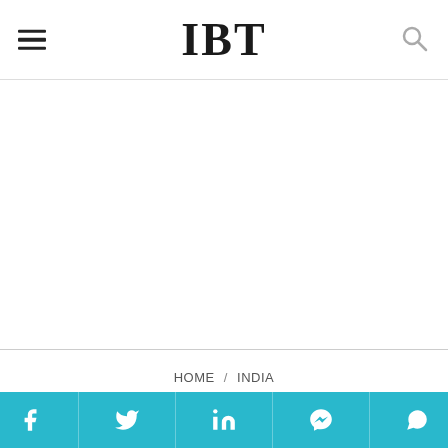IBT
[Figure (other): Large white rectangular advertisement placeholder area below the navigation bar]
HOME / INDIA
F…i…i… i… b… ill…
[Figure (infographic): Teal social media share bar at the bottom with Facebook, Twitter, LinkedIn, Messenger, and WhatsApp icons]